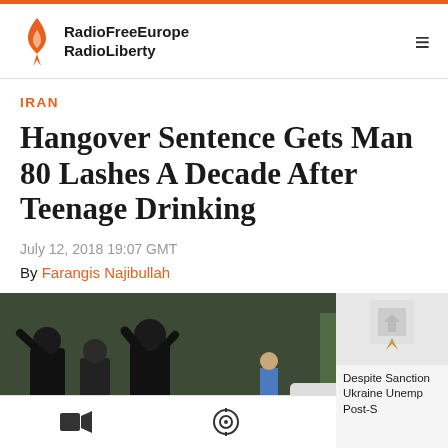RadioFreeEurope RadioLiberty
IRAN
Hangover Sentence Gets Man 80 Lashes A Decade After Teenage Drinking
July 12, 2018 19:07 GMT
By Farangis Najibullah
[Figure (photo): Photo of people in dark clothing on a street scene, possibly a public gathering or enforcement scenario in Iran]
Despite Sanctions Ukraine Unemp Post-S
Navigation icons: video, audio/podcast, search